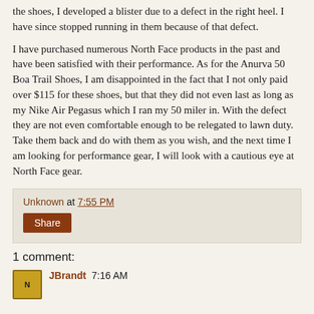the shoes, I developed a blister due to a defect in the right heel. I have since stopped running in them because of that defect.
I have purchased numerous North Face products in the past and have been satisfied with their performance. As for the Anurva 50 Boa Trail Shoes, I am disappointed in the fact that I not only paid over $115 for these shoes, but that they did not even last as long as my Nike Air Pegasus which I ran my 50 miler in. With the defect they are not even comfortable enough to be relegated to lawn duty. Take them back and do with them as you wish, and the next time I am looking for performance gear, I will look with a cautious eye at North Face gear.
Unknown at 7:55 PM
Share
1 comment:
JBrandt 7:16 AM